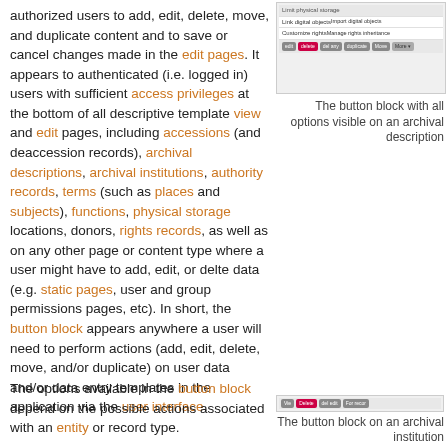authorized users to add, edit, delete, move, and duplicate content and to save or cancel changes made in the edit pages. It appears to authenticated (i.e. logged in) users with sufficient access privileges at the bottom of all descriptive template view and edit pages, including accessions (and deaccession records), archival descriptions, archival institutions, authority records, terms (such as places and subjects), functions, physical storage locations, donors, rights records, as well as on any other page or content type where a user might have to add, edit, or delte data (e.g. static pages, user and group permissions pages, etc). In short, the button block appears anywhere a user will need to perform actions (add, edit, delete, move, and/or duplicate) on user data and/or data entry templates in the application via the user interface.
[Figure (screenshot): Screenshot of a button block dropdown menu with options: Link physical storage, Link digital objects, Import digital objects, Customize rights, Manage rights inheritance, and a button bar below with edit/delete/move/duplicate/more buttons.]
The button block with all options visible on an archival description
The options available in the button block depend on the possible actions associated with an entity or record type.
[Figure (screenshot): Screenshot of a button block on an archival institution showing View, Delete, Edit, For record buttons.]
The button block on an archival institution